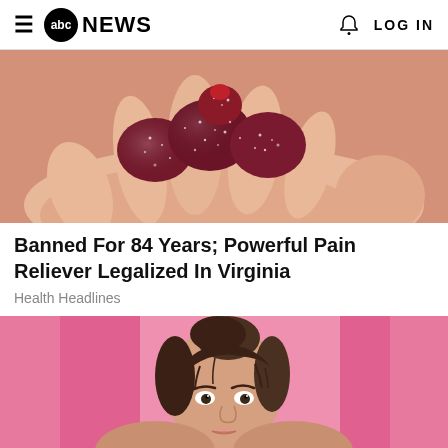abc NEWS  LOG IN
[Figure (photo): A hand holding several dark red sugar-coated gummy candies]
Banned For 84 Years; Powerful Pain Reliever Legalized In Virginia
Health Headlines
[Figure (photo): A young woman with brown hair looking at the camera against a pink background]